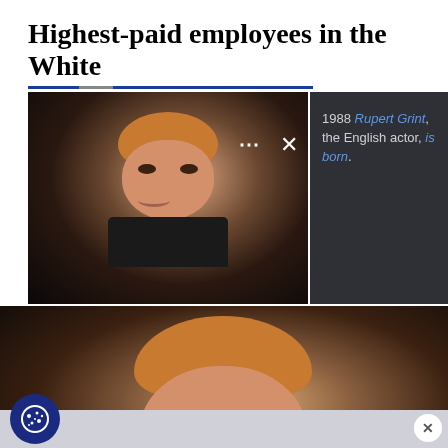Highest-paid employees in the White
[Figure (photo): Photo of Rupert Grint (younger), a young man with reddish-blonde hair wearing a black jacket, with a dark overlay panel showing dots menu and X close icon, and a dark sidebar panel with text: '1988 Rupert Grint, the English actor, is born.']
[Figure (photo): Close-up photo of Rupert Grint smiling, reddish-blonde hair, wearing dark clothing, larger close-up view.]
[Figure (other): Cookie consent button (blue circle with cookie icon) and close button (X) on a light gray bottom strip.]